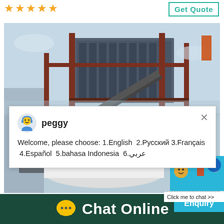[Figure (other): Five orange star rating icons in a row]
[Figure (other): Get Quote button with teal border]
[Figure (photo): Industrial mining/crushing machine equipment photo with steel frame structure and belt conveyors]
[Figure (screenshot): Chat popup with agent named peggy showing language selection message: Welcome, please choose: 1.English 2.Русский 3.Français 4.Español 5.bahasa Indonesia 6.عربي]
[Figure (other): Blue panel with notification badge showing '1' and 'Click me to chat >>' button]
K.Y.METAL WORKS
[Figure (other): Enquiry tab in teal blue]
[Figure (other): Chat Online bar with speech bubble icon and white text on dark green background]